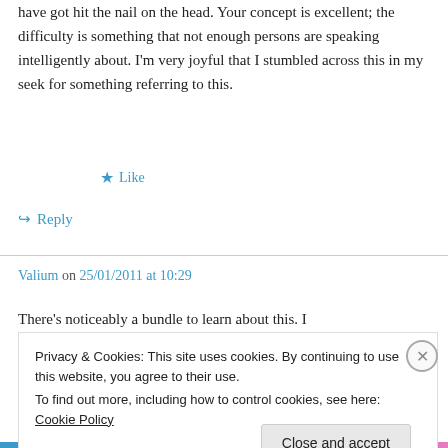have got hit the nail on the head. Your concept is excellent; the difficulty is something that not enough persons are speaking intelligently about. I'm very joyful that I stumbled across this in my seek for something referring to this.
★ Like
↪ Reply
Valium on 25/01/2011 at 10:29
There's noticeably a bundle to learn about this. I
Privacy & Cookies: This site uses cookies. By continuing to use this website, you agree to their use.
To find out more, including how to control cookies, see here: Cookie Policy
Close and accept